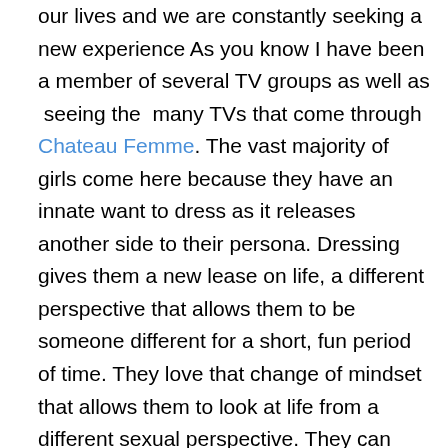our lives and we are constantly seeking a new experience As you know I have been a member of several TV groups as well as  seeing the  many TVs that come through Chateau Femme. The vast majority of girls come here because they have an innate want to dress as it releases another side to their persona. Dressing gives them a new lease on life, a different perspective that allows them to be someone different for a short, fun period of time. They love that change of mindset that allows them to look at life from a different sexual perspective. They can relax more, they feel more in tune with themselves by casting off the expectations of society on what a man has to be. Because they are being nonconformist in their nature they do not have to adopt society's social moires, instead they can be themselves. For some like me they like both the boy and the femme side and